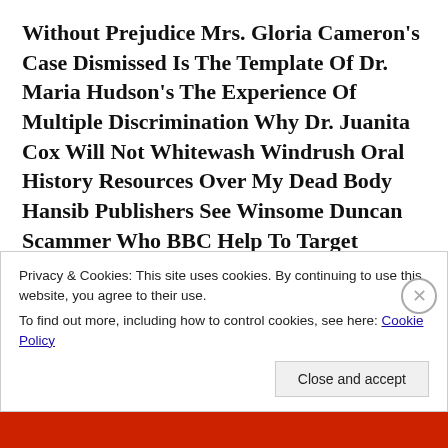Without Prejudice Mrs. Gloria Cameron's Case Dismissed Is The Template Of Dr. Maria Hudson's The Experience Of Multiple Discrimination Why Dr. Juanita Cox Will Not Whitewash Windrush Oral History Resources Over My Dead Body Hansib Publishers See Winsome Duncan Scammer Who BBC Help To Target Vulnerable
Without Prejudice Mrs. Gloria Cameron's Case Dismissed Is The Template Of Dr. Maria Hudson's The Experience Of Multiple Discrimination Why Dr. Juanita Cox Will Not Whitewash Windrush Oral History Resources Over My Dead Body Hansib
Privacy & Cookies: This site uses cookies. By continuing to use this website, you agree to their use.
To find out more, including how to control cookies, see here: Cookie Policy
Close and accept